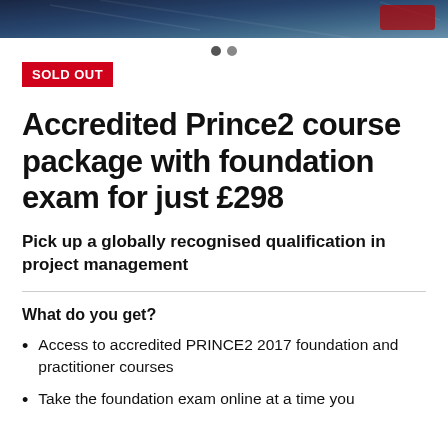[Figure (photo): Hero banner image showing a technology/project management related scene in blue tones]
● ○ (carousel dots)
SOLD OUT
Accredited Prince2 course package with foundation exam for just £298
Pick up a globally recognised qualification in project management
What do you get?
Access to accredited PRINCE2 2017 foundation and practitioner courses
Take the foundation exam online at a time you